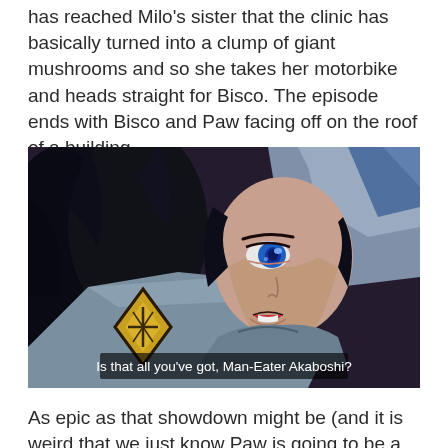has reached Milo's sister that the clinic has basically turned into a clump of giant mushrooms and so she takes her motorbike and heads straight for Bisco. The episode ends with Bisco and Paw facing off on the roof of a building.
[Figure (illustration): Anime screenshot of a female character with long dark hair and blue eyes wearing a gray cloak/cape with a yellow diamond emblem, looking intense. Subtitle reads: Is that all you've got, Man-Eater Akaboshi?]
Is that all you've got, Man-Eater Akaboshi?
As epic as that showdown might be (and it is weird that we just know Paw is going to be a decent match for him given we haven't actually seen her in action – she just comes across as incredibly competent), I'm